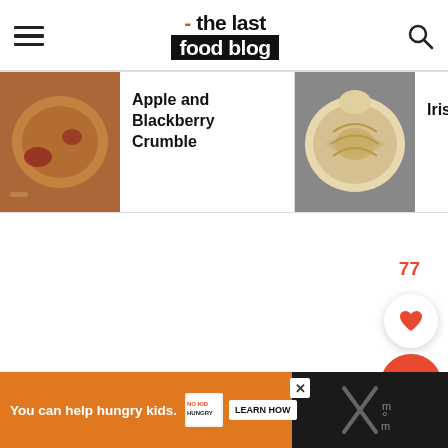- the last food blog
[Figure (screenshot): Food blog website screenshot showing logo 'the last food blog' with hamburger menu and search icon in header, followed by a horizontal carousel of food items: Apple and Blackberry Crumble, Irish Apple Tart, Rhubarb Crumble Muffins]
Apple and Blackberry Crumble
Irish Apple Tart
Rhubarb Crumble Muffins
77
You can help hungry kids. NO KID HUNGRY LEARN HOW